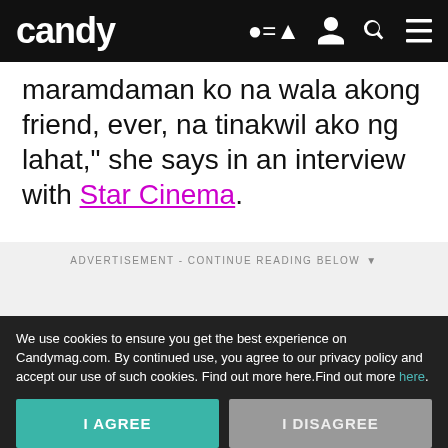candy
maramdaman ko na wala akong friend, ever, na tinakwil ako ng lahat," she says in an interview with Star Cinema.
ADVERTISEMENT - CONTINUE READING BELOW
Read on App
We use cookies to ensure you get the best experience on Candymag.com. By continued use, you agree to our privacy policy and accept our use of such cookies. Find out more here.Find out more here.
I AGREE
I DISAGREE